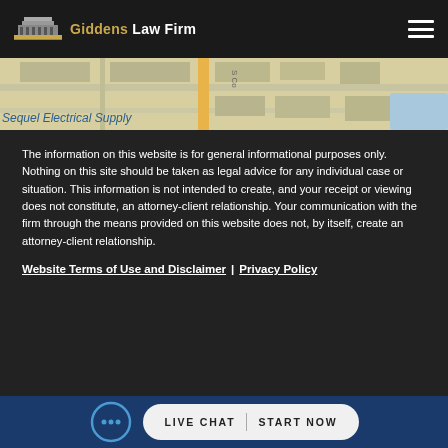Giddens Law Firm
[Figure (map): Street map snippet showing roads and a label 'Sequel Electrical Supply']
The information on this website is for general informational purposes only. Nothing on this site should be taken as legal advice for any individual case or situation. This information is not intended to create, and your receipt or viewing does not constitute, an attorney-client relationship. Your communication with the firm through the means provided on this website does not, by itself, create an attorney-client relationship.
Website Terms of Use and Disclaimer | Privacy Policy
[Figure (infographic): Live chat button with chat bubble icon, text: LIVE CHAT > START NOW]